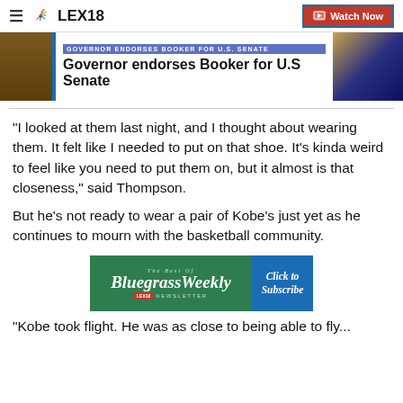LEX18 — Watch Now
[Figure (screenshot): Hero image with breaking news banner reading 'GOVERNOR ENDORSES BOOKER FOR U.S. SENATE']
Governor endorses Booker for U.S Senate
"I looked at them last night, and I thought about wearing them. It felt like I needed to put on that shoe. It's kinda weird to feel like you need to put them on, but it almost is that closeness," said Thompson.
But he's not ready to wear a pair of Kobe's just yet as he continues to mourn with the basketball community.
[Figure (illustration): Bluegrass Weekly newsletter advertisement banner with 'Click to Subscribe' button]
"Kobe took flight. He was as close to being able to fly...